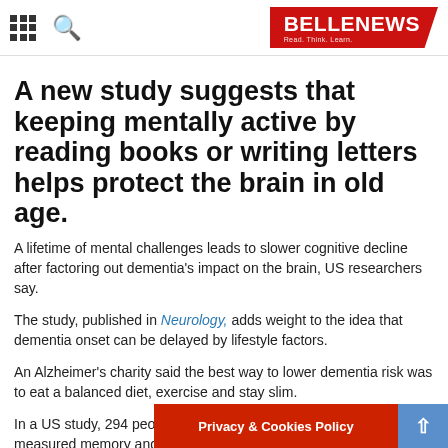BELLENEWS Read. Think. Learn.
A new study suggests that keeping mentally active by reading books or writing letters helps protect the brain in old age.
A lifetime of mental challenges leads to slower cognitive decline after factoring out dementia's impact on the brain, US researchers say.
The study, published in Neurology, adds weight to the idea that dementia onset can be delayed by lifestyle factors.
An Alzheimer's charity said the best way to lower dementia risk was to eat a balanced diet, exercise and stay slim.
In a US study, 294 people over the age of 55 were given tests that measured memory and thinking, every year for about six years until their deaths.
Privacy & Cookies Policy